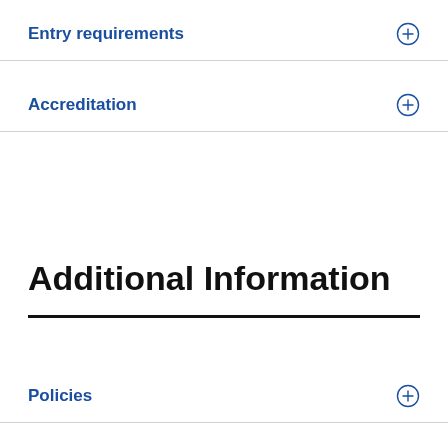Entry requirements
Accreditation
Additional Information
Policies